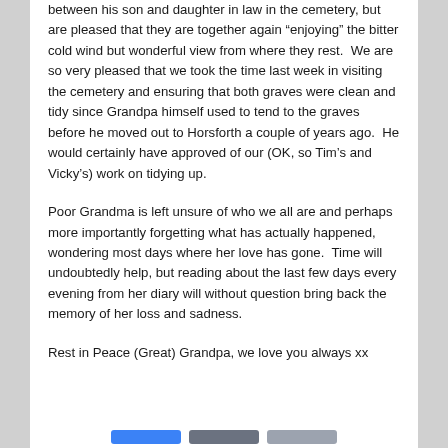between his son and daughter in law in the cemetery, but are pleased that they are together again “enjoying” the bitter cold wind but wonderful view from where they rest.  We are so very pleased that we took the time last week in visiting the cemetery and ensuring that both graves were clean and tidy since Grandpa himself used to tend to the graves before he moved out to Horsforth a couple of years ago.  He would certainly have approved of our (OK, so Tim’s and Vicky’s) work on tidying up.
Poor Grandma is left unsure of who we all are and perhaps more importantly forgetting what has actually happened, wondering most days where her love has gone.  Time will undoubtedly help, but reading about the last few days every evening from her diary will without question bring back the memory of her loss and sadness.
Rest in Peace (Great) Grandpa, we love you always xx